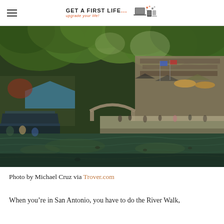GET A FIRST LIFE — upgrade your life!
[Figure (photo): San Antonio River Walk scene showing a river canal with a tour boat on the left, an arched stone bridge in the middle distance, lush green trees overhead, restaurants and shops with flags and umbrellas along the right bank, and people walking along the waterfront promenade.]
Photo by Michael Cruz via Trover.com
When you're in San Antonio, you have to do the River Walk,